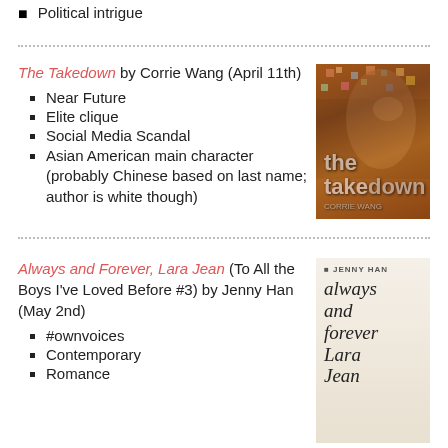Political intrigue
The Takedown by Corrie Wang (April 11th)
Near Future
Elite clique
Social Media Scandal
Asian American main character (probably Chinese based on last name; author is white though)
[Figure (illustration): Book cover of 'The Takedown' by Corrie Wang showing a woman's face in profile with colorful mosaic effect, brown tones]
Always and Forever, Lara Jean (To All the Boys I've Loved Before #3) by Jenny Han (May 2nd)
#ownvoices
Contemporary
Romance
[Figure (illustration): Book cover of 'Always and Forever, Lara Jean' by Jenny Han showing a young woman in floral dress with script title text]